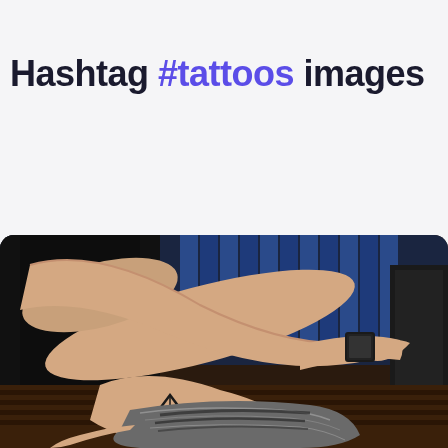Hashtag #tattoos images
[Figure (photo): A photo showing a person's forearm and hand resting on their knee. The person is wearing a black watch/wristband. There is a tattoo visible on the hand/fingers. The person is wearing dark clothing and appears to be sitting in a chair. The background shows blue and dark elements suggesting a tattoo parlor or casual setting.]